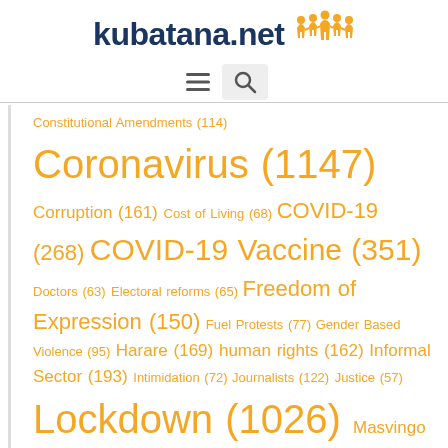kubatana.net
Constitutional Amendments (114) Coronavirus (1147) Corruption (161) Cost of Living (68) COVID-19 (268) COVID-19 Vaccine (351) Doctors (63) Electoral reforms (65) Freedom of Expression (150) Fuel Protests (77) Gender Based Violence (95) Harare (169) human rights (162) Informal Sector (193) Intimidation (72) Journalists (122) Justice (57) Lockdown (1026) Masvingo (73) Matabeleland (53) Parliament (281) Peace (52) Post-Election (84) Rural (235) Salaries (114)